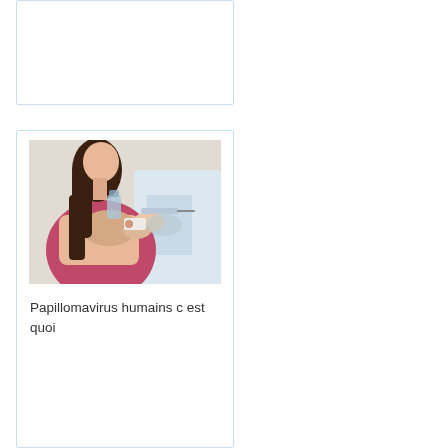[Figure (photo): Partial card view at top, mostly white/empty card with light blue border]
[Figure (photo): Woman with long brown hair in pink top receiving a vaccination injection in her arm from a healthcare professional in white coat. Medical vaccination scene.]
Papillomavirus humains c est quoi